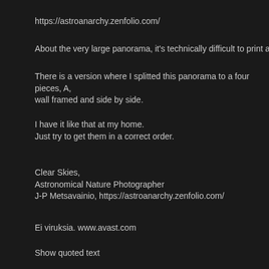https://astroanarchy.zenfolio.com/
About the very large panorama, it's technically difficult to print as one
There is a version where I splitted this panorama to a four pieces, A, wall framed and side by side.
I have it like that at my home.
Just try to get them in a correct order.
Clear Skies,
Astronomical Nature Photographer
J-P Metsavainio, https://astroanarchy.zenfolio.com/
Ei viruksia. www.avast.com
Show quoted text